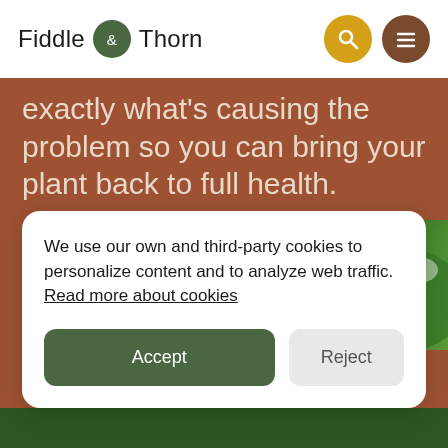Fiddle & Thorn
exactly what's causing the problem so you can bring your plant back to full health.
[Figure (photo): Plant leaves with green and white variegated foliage, partially visible behind a card/panel.]
We use our own and third-party cookies to personalize content and to analyze web traffic. Read more about cookies
Accept
Reject